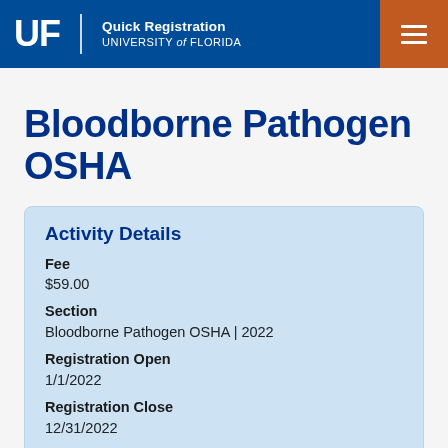UF | Quick Registration UNIVERSITY of FLORIDA
Bloodborne Pathogen OSHA
Activity Details
Fee
$59.00
Section
Bloodborne Pathogen OSHA | 2022
Registration Open
1/1/2022
Registration Close
12/31/2022
Activity Start
Any time